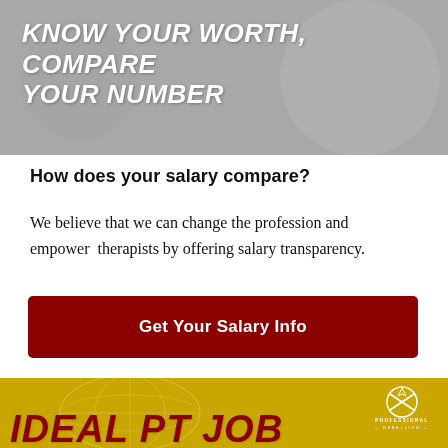[Figure (illustration): Gray banner with bold white italic text 'KNOW YOUR WORTH, COMPARE YOUR NUMBER' over a stylized background with illustrated figures]
How does your salary compare?
We believe that we can change the profession and empower therapists by offering salary transparency.
[Figure (other): Dark red button labeled 'Get Your Salary Info']
[Figure (illustration): Gold banner with globe graphic, Professional Rebellion logo, and bold dark red italic text 'IDEAL PT JOB']